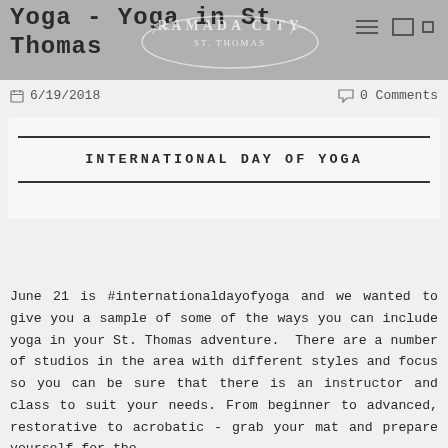Yoga - Yoga in St. Thomas
6/19/2018
0 Comments
INTERNATIONAL DAY OF YOGA
June 21 is #internationaldayofyoga and we wanted to give you a sample of some of the ways you can include yoga in your St. Thomas adventure. There are a number of studios in the area with different styles and focus so you can be sure that there is an instructor and class to suit your needs. From beginner to advanced, restorative to acrobatic - grab your mat and prepare yourself for the